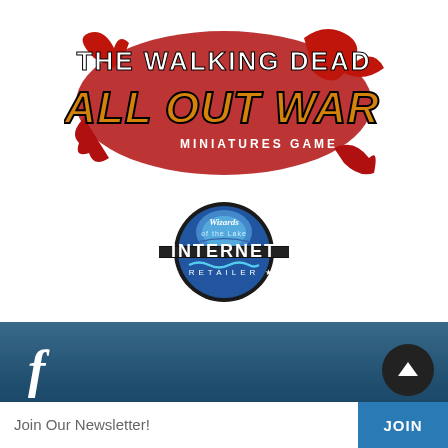[Figure (logo): The Walking Dead All Out War Miniatures Game logo with red blood splatter background and gold/orange stylized text]
[Figure (logo): Wizards of the Coast Internet Retailer circular badge logo with blue globe design and black INTERNET text]
[Figure (infographic): Blue gradient footer bar with white Facebook 'f' icon on left side]
Join Our Newsletter!
JOIN